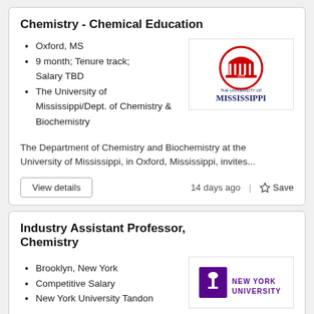Chemistry - Chemical Education
Oxford, MS
9 month; Tenure track; Salary TBD
The University of Mississippi/Dept. of Chemistry & Biochemistry
The Department of Chemistry and Biochemistry at the University of Mississippi, in Oxford, Mississippi, invites...
14 days ago
Industry Assistant Professor, Chemistry
Brooklyn, New York
Competitive Salary
New York University Tandon